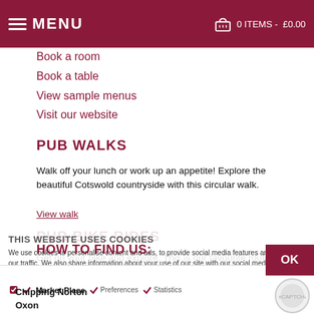MENU | 0 ITEMS - £0.00
Book a room
Book a table
View sample menus
Visit our website
PUB WALKS
Walk off your lunch or work up an appetite! Explore the beautiful Cotswold countryside with this circular walk.
View walk
PUB BIKE RIDES
Get on your bike and explore. This is our favourite route as it ends at Hook Norton Brewery!
View ride route
HOW TO FIND US:
Market Place
Chipping Norton
Oxon
THIS WEBSITE USES COOKIES
We use cookies to personalise content and ads, to provide social media features and to analyse our traffic. We also share information about your use of our site with our social media, advertising and analytics partners who may combine it with other information that you've provided to them or that they've collected from your use of their services. You consent to our cookies if you continue to use our website.